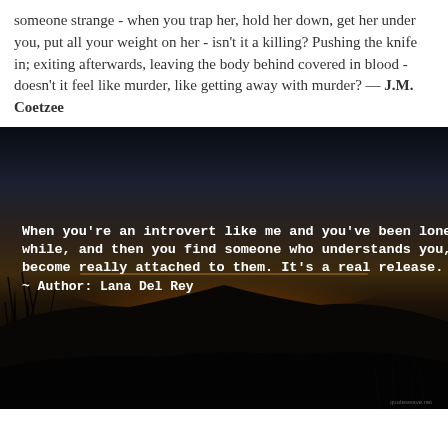someone strange - when you trap her, hold her down, get her under you, put all your weight on her - isn't it a killing? Pushing the knife in; exiting afterwards, leaving the body behind covered in blood - doesn't it feel like murder, like getting away with murder? — J.M. Coetzee
[Figure (photo): Dark atmospheric sunset/twilight landscape photo with silhouettes of grass or reeds against a glowing horizon. White bold monospaced text overlaid reads a quote by Lana Del Rey about introverts and loneliness.]